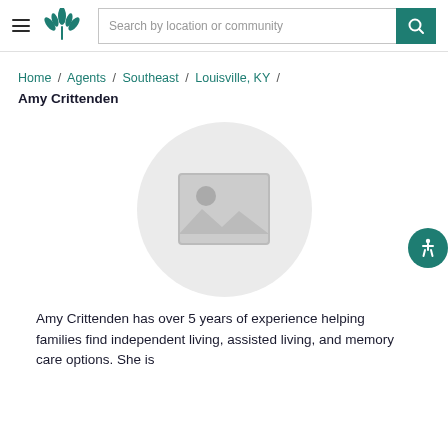Search by location or community
Home / Agents / Southeast / Louisville, KY / Amy Crittenden
[Figure (photo): Circular profile photo placeholder with grey background and image icon]
Amy Crittenden has over 5 years of experience helping families find independent living, assisted living, and memory care options. She is